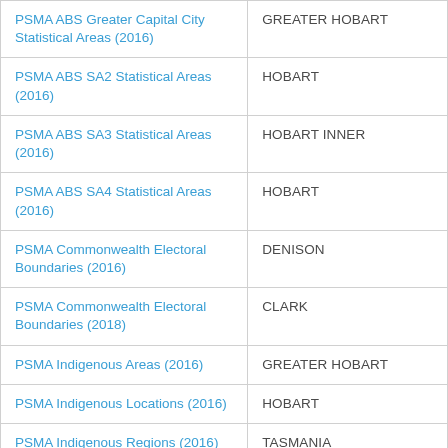| PSMA ABS Greater Capital City Statistical Areas (2016) | GREATER HOBART |
| PSMA ABS SA2 Statistical Areas (2016) | HOBART |
| PSMA ABS SA3 Statistical Areas (2016) | HOBART INNER |
| PSMA ABS SA4 Statistical Areas (2016) | HOBART |
| PSMA Commonwealth Electoral Boundaries (2016) | DENISON |
| PSMA Commonwealth Electoral Boundaries (2018) | CLARK |
| PSMA Indigenous Areas (2016) | GREATER HOBART |
| PSMA Indigenous Locations (2016) | HOBART |
| PSMA Indigenous Regions (2016) | TASMANIA |
| PSMA Localities (2018) | HOBART |